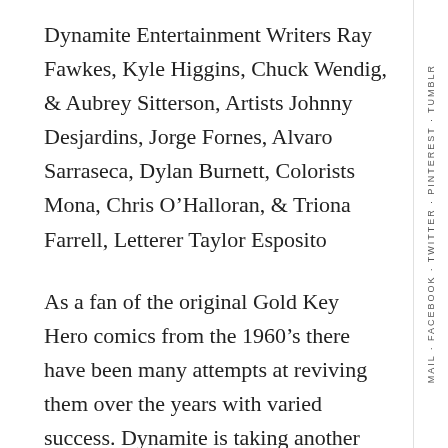Dynamite Entertainment Writers Ray Fawkes, Kyle Higgins, Chuck Wendig, & Aubrey Sitterson, Artists Johnny Desjardins, Jorge Fornes, Alvaro Sarraseca, Dylan Burnett, Colorists Mona, Chris O'Halloran, & Triona Farrell, Letterer Taylor Esposito
As a fan of the original Gold Key Hero comics from the 1960's there have been many attempts at reviving them over the years with varied success. Dynamite is taking another stab at them and they kick it off with this preview story that is decent but not sure where it's going to land. Fawkes writes the prelude story and Desjardins does a nice job with the art that is quite surprising considering Dynamite's past with so-so